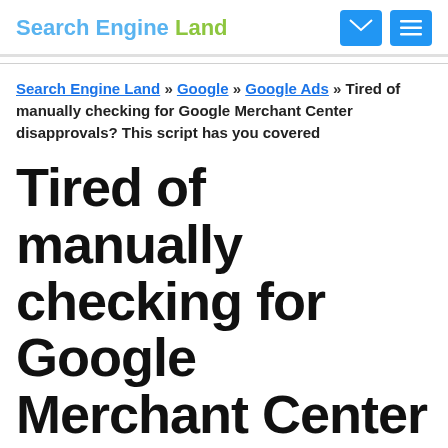Search Engine Land
Search Engine Land » Google » Google Ads » Tired of manually checking for Google Merchant Center disapprovals? This script has you covered
Tired of manually checking for Google Merchant Center disapprovals? This script has you covered